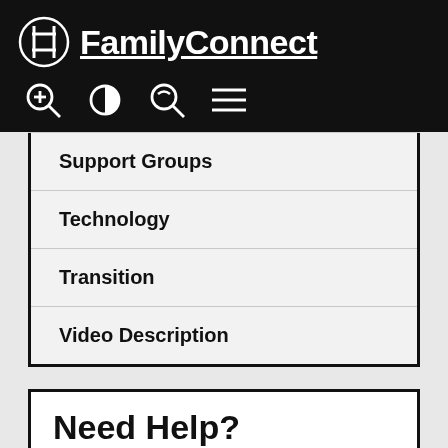APH FamilyConnect
Support Groups
Technology
Transition
Video Description
Need Help?